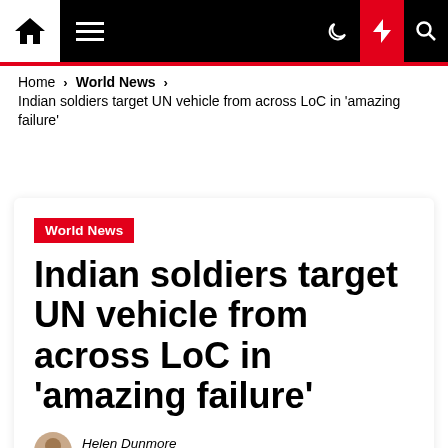Navigation bar with home, menu, moon, flash, and search icons
Home > World News > Indian soldiers target UN vehicle from across LoC in 'amazing failure'
World News
Indian soldiers target UN vehicle from across LoC in 'amazing failure'
Helen Dunmore  18/12/2020